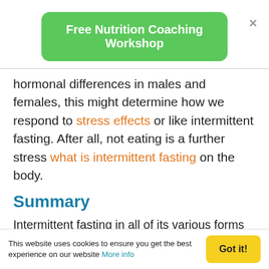[Figure (other): Green rounded rectangle button with white text: Free Nutrition Coaching Workshop, with an X close button to the right]
hormonal differences in males and females, this might determine how we respond to stress effects or like intermittent fasting. After all, not eating is a further stress what is intermittent fasting on the body.
Summary
Intermittent fasting in all of its various forms can potentially offer a lot of benefits.
It's important to consider as the research is still
This website uses cookies to ensure you get the best experience on our website More info   Got it!